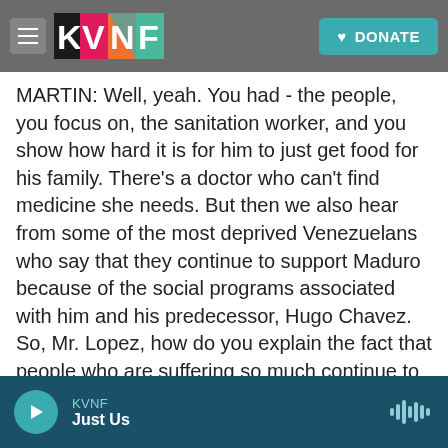KVNF navigation bar with hamburger menu, KVNF logo, and DONATE button
MARTIN: Well, yeah. You had - the people, you focus on, the sanitation worker, and you show how hard it is for him to just get food for his family. There's a doctor who can't find medicine she needs. But then we also hear from some of the most deprived Venezuelans who say that they continue to support Maduro because of the social programs associated with him and his predecessor, Hugo Chavez. So, Mr. Lopez, how do you explain the fact that people who are suffering so much continue to support the current regime?
LOPEZ: Well, that's common in authoritarian
KVNF  Just Us  [audio player]